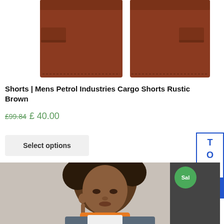[Figure (photo): Product photo of rustic brown cargo shorts showing front and back views on white background]
Shorts | Mens Petrol Industries Cargo Shorts Rustic Brown
£99.84 £ 40.00
Select options
[Figure (photo): Photo of a young child with curly hair wearing an orange and grey jacket, looking down thoughtfully]